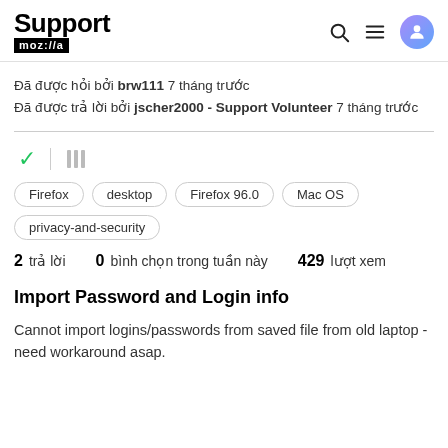Support moz://a
Đã được hỏi bởi brw111 7 tháng trước
Đã được trả lời bởi jscher2000 - Support Volunteer 7 tháng trước
Firefox  desktop  Firefox 96.0  Mac OS  privacy-and-security
2 trả lời  0 bình chọn trong tuần này  429 lượt xem
Import Password and Login info
Cannot import logins/passwords from saved file from old laptop - need workaround asap.